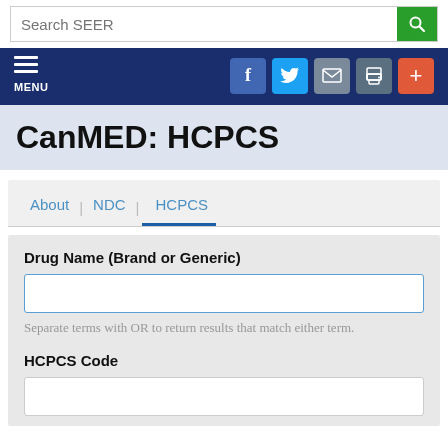Search SEER
[Figure (screenshot): Navigation bar with hamburger menu icon labeled MENU and social share buttons: Facebook (f), Twitter bird, mail envelope, print, and plus (+) icons]
CanMED: HCPCS
About | NDC | HCPCS (tab navigation, HCPCS active)
Drug Name (Brand or Generic)
Separate terms with OR to return results that match either term.
HCPCS Code